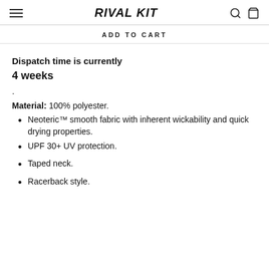RIVAL KIT
ADD TO CART
Dispatch time is currently
4 weeks
.
Material: 100% polyester.
Neoteric™ smooth fabric with inherent wickability and quick drying properties.
UPF 30+ UV protection.
Taped neck.
Racerback style.